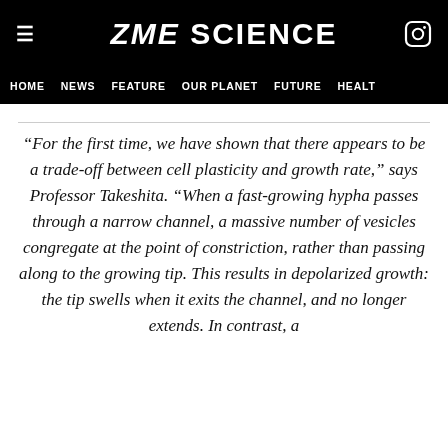ZME SCIENCE
HOME  NEWS  FEATURE  OUR PLANET  FUTURE  HEALTH
“For the first time, we have shown that there appears to be a trade-off between cell plasticity and growth rate,” says Professor Takeshita. “When a fast-growing hypha passes through a narrow channel, a massive number of vesicles congregate at the point of constriction, rather than passing along to the growing tip. This results in depolarized growth: the tip swells when it exits the channel, and no longer extends. In contrast, a